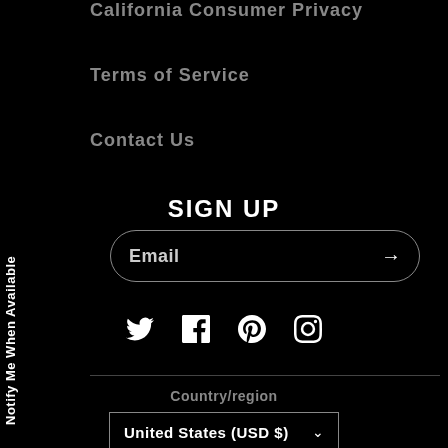California Consumer Privacy
Terms of Service
Contact Us
Notify Me When Available
SIGN UP
Email
[Figure (infographic): Social media icons: Twitter, Facebook, Pinterest, Instagram]
Country/region
United States (USD $)